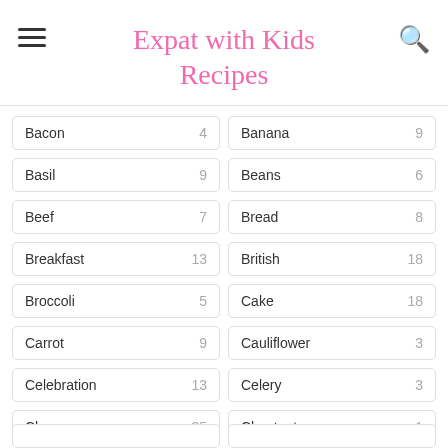Expat with Kids Recipes
Bacon 4
Banana 9
Basil 9
Beans 6
Beef 7
Bread 8
Breakfast 13
British 18
Broccoli 5
Cake 18
Carrot 9
Cauliflower 3
Celebration 13
Celery 3
Cheese 35
Chestnut 1